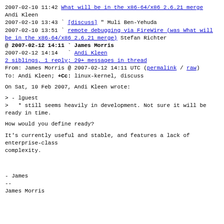2007-02-10 11:42 What will be in the x86-64/x86 2.6.21 merge Andi Kleen
2007-02-10 13:43 ` [discuss] " Muli Ben-Yehuda
2007-02-10 13:51 ` remote debugging via FireWire (was What will be in the x86-64/x86 2.6.21 merge) Stefan Richter
@ 2007-02-12 14:11 ` James Morris
2007-02-12 14:14 ` Andi Kleen
2 siblings, 1 reply; 29+ messages in thread
From: James Morris @ 2007-02-12 14:11 UTC (permalink / raw)
To: Andi Kleen; +Cc: linux-kernel, discuss
On Sat, 10 Feb 2007, Andi Kleen wrote:
> - lguest
>    * still seems heavily in development. Not sure it will be ready in time.
How would you define ready?
It's currently useful and stable, and features a lack of enterprise-class complexity.
- James
--
James Morris